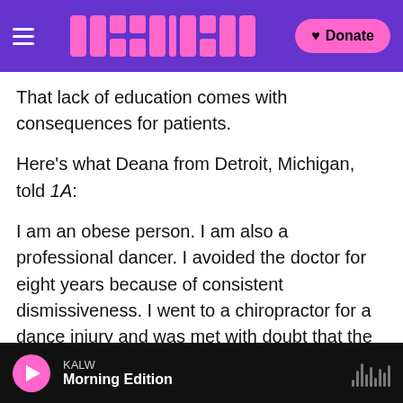1A (KALW) — Navigation header with logo and Donate button
That lack of education comes with consequences for patients.
Here's what Deana from Detroit, Michigan, told 1A:
I am an obese person. I am also a professional dancer. I avoided the doctor for eight years because of consistent dismissiveness. I went to a chiropractor for a dance injury and was met with doubt that the injury was in fact dance-related — and it happened because I did a drop split. So the ability to even be seen fully as a human being let alone as a patient has been really hard for me.
KALW — Morning Edition